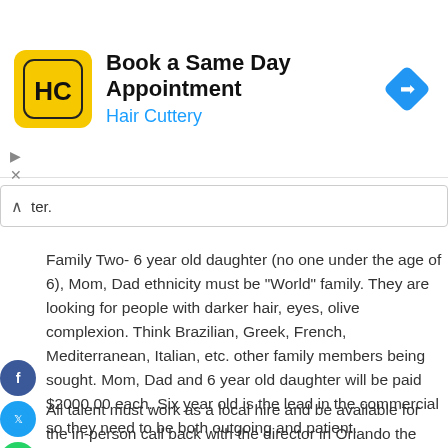[Figure (screenshot): Hair Cuttery advertisement banner. Logo: yellow rounded square with HC letters. Title: 'Book a Same Day Appointment'. Subtitle: 'Hair Cuttery' in blue. Blue diamond navigation arrow on the right.]
ter.
Family Two- 6 year old daughter (no one under the age of 6), Mom, Dad ethnicity must be "World" family. They are looking for people with darker hair, eyes, olive complexion. Think Brazilian, Greek, French, Mediterranean, Italian, etc. other family members being sought. Mom, Dad and 6 year old daughter will be paid $2000.00 each. Six year old is the lead in the commercial so they need to be both outgoing and patient.
All talent must work as a local hire and be available for the in-person call back with the director in Orlando the last